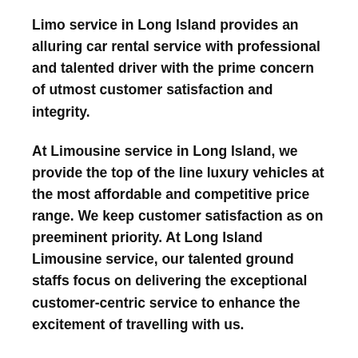Limo service in Long Island provides an alluring car rental service with professional and talented driver with the prime concern of utmost customer satisfaction and integrity.
At Limousine service in Long Island, we provide the top of the line luxury vehicles at the most affordable and competitive price range. We keep customer satisfaction as on preeminent priority. At Long Island Limousine service, our talented ground staffs focus on delivering the exceptional customer-centric service to enhance the excitement of travelling with us.
If you are coming to Attica, NY to attend the corporate meetings or business transactions, we at